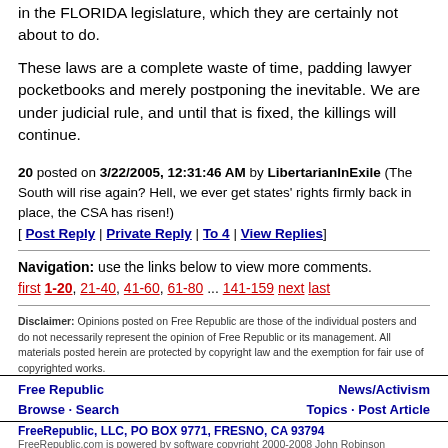in the FLORIDA legislature, which they are certainly not about to do.
These laws are a complete waste of time, padding lawyer pocketbooks and merely postponing the inevitable. We are under judicial rule, and until that is fixed, the killings will continue.
20 posted on 3/22/2005, 12:31:46 AM by LibertarianInExile (The South will rise again? Hell, we ever get states' rights firmly back in place, the CSA has risen!) [ Post Reply | Private Reply | To 4 | View Replies]
Navigation: use the links below to view more comments. first 1-20, 21-40, 41-60, 61-80 ... 141-159 next last
Disclaimer: Opinions posted on Free Republic are those of the individual posters and do not necessarily represent the opinion of Free Republic or its management. All materials posted herein are protected by copyright law and the exemption for fair use of copyrighted works.
Free Republic   News/Activism
Browse · Search   Topics · Post Article
FreeRepublic, LLC, PO BOX 9771, FRESNO, CA 93794
FreeRepublic.com is powered by software copyright 2000-2008 John Robinson